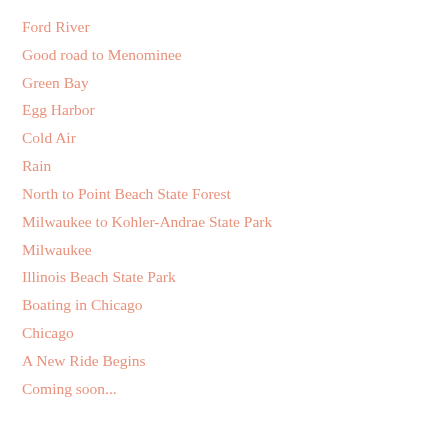Ford River
Good road to Menominee
Green Bay
Egg Harbor
Cold Air
Rain
North to Point Beach State Forest
Milwaukee to Kohler-Andrae State Park
Milwaukee
Illinois Beach State Park
Boating in Chicago
Chicago
A New Ride Begins
Coming soon...